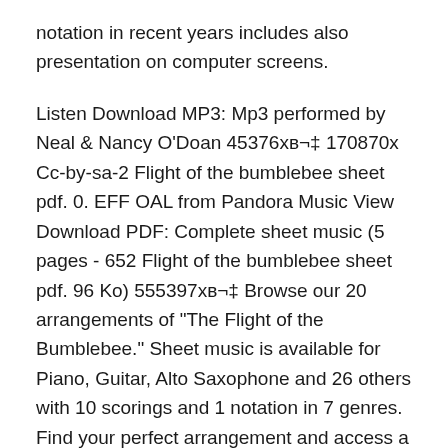notation in recent years includes also presentation on computer screens.
Listen Download MP3: Mp3 performed by Neal & Nancy O'Doan 45376хв¬‡ 170870х Cc-by-sa-2 Flight of the bumblebee sheet pdf. 0. EFF OAL from Pandora Music View Download PDF: Complete sheet music (5 pages - 652 Flight of the bumblebee sheet pdf. 96 Ko) 555397хв¬‡ Browse our 20 arrangements of "The Flight of the Bumblebee." Sheet music is available for Piano, Guitar, Alto Saxophone and 26 others with 10 scorings and 1 notation in 7 genres. Find your perfect arrangement and access a variety of transpositions so you can print and play instantly, anywhere.